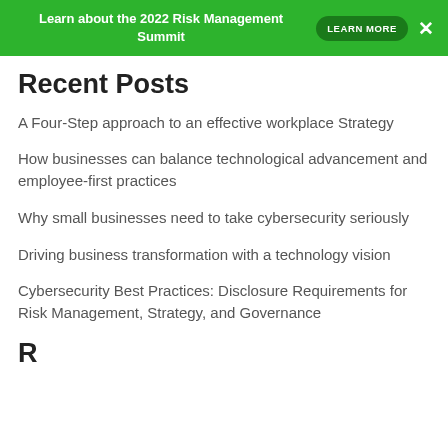Learn about the 2022 Risk Management Summit  LEARN MORE  ×
Recent Posts
A Four-Step approach to an effective workplace Strategy
How businesses can balance technological advancement and employee-first practices
Why small businesses need to take cybersecurity seriously
Driving business transformation with a technology vision
Cybersecurity Best Practices: Disclosure Requirements for Risk Management, Strategy, and Governance